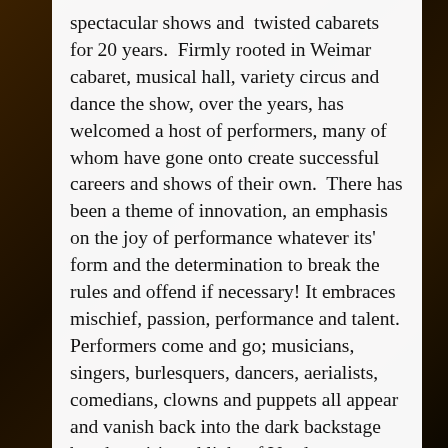spectacular shows and twisted cabarets for 20 years. Firmly rooted in Weimar cabaret, musical hall, variety circus and dance the show, over the years, has welcomed a host of performers, many of whom have gone onto create successful careers and shows of their own. There has been a theme of innovation, an emphasis on the joy of performance whatever its' form and the determination to break the rules and offend if necessary! It embraces mischief, passion, performance and talent. Performers come and go; musicians, singers, burlesquers, dancers, aerialists, comedians, clowns and puppets all appear and vanish back into the dark backstage but the spirit and light of Voodoo Vaudeville lives on, as long as there's an audience there will be voodoo magic conjured up by the masters of dark cabaret. Over the years, (under the direction of founder and artistic director Chris Cresswell ), the Voodoo crew has become a legendary and renowned internationally touring